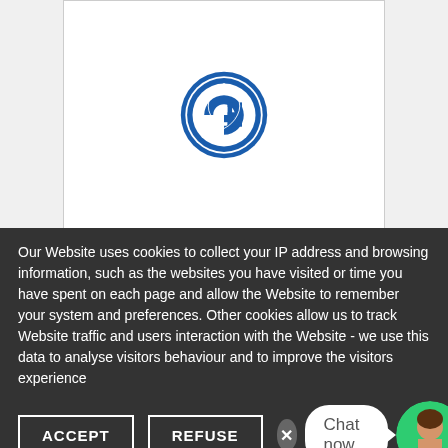[Figure (logo): GE (General Electric) circular logo in blue and white]
[Figure (logo): Intuit logo in blue text reading 'intuit.' with stylized dotted i letters]
[Figure (logo): Partially visible third logo card, content not visible]
Our Website uses cookies to collect your IP address and browsing information, such as the websites you have visited or time you have spent on each page and allow the Website to remember your system and preferences. Other cookies allow us to track Website traffic and users interaction with the Website - we use this data to analyse visitors behaviour and to improve the visitors experience
ACCEPT
REFUSE
Chat now